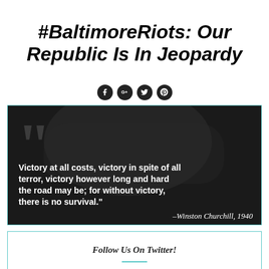#BaltimoreRiots: Our Republic Is In Jeopardy
[Figure (illustration): Social media share icons: Facebook, Google+, Twitter, Pinterest — black circles with white logos]
[Figure (photo): Black and white photograph with overlaid white bold text quote: 'Victory at all costs, victory in spite of all terror, victory however long and hard the road may be; for without victory, there is no survival.' — Winston Churchill, 1940. Large translucent quotation mark in upper left.]
Follow Us On Twitter!